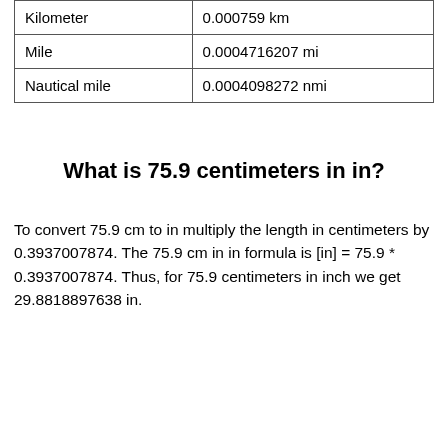| Kilometer | 0.000759 km |
| Mile | 0.0004716207 mi |
| Nautical mile | 0.0004098272 nmi |
What is 75.9 centimeters in in?
To convert 75.9 cm to in multiply the length in centimeters by 0.3937007874. The 75.9 cm in in formula is [in] = 75.9 * 0.3937007874. Thus, for 75.9 centimeters in inch we get 29.8818897638 in.